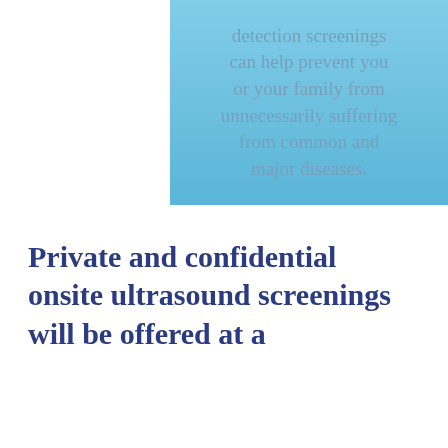detection screenings can help prevent you or your family from unnecessarily suffering from common and major diseases.
Private and confidential onsite ultrasound screenings will be offered at a